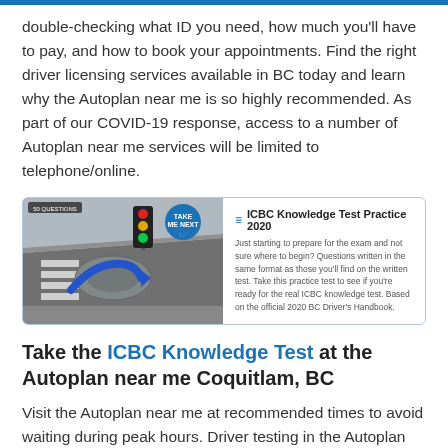double-checking what ID you need, how much you'll have to pay, and how to book your appointments. Find the right driver licensing services available in BC today and learn why the Autoplan near me is so highly recommended. As part of our COVID-19 response, access to a number of Autoplan near me services will be limited to telephone/online.
[Figure (screenshot): Card showing a road/traffic scene with a traffic light and blue arrow, with text about ICBC Knowledge Test Practice 2020 and a circular blue take-me-next button]
Take the ICBC Knowledge Test at the Autoplan near me Coquitlam, BC
Visit the Autoplan near me at recommended times to avoid waiting during peak hours. Driver testing in the Autoplan near me is available at most but not all